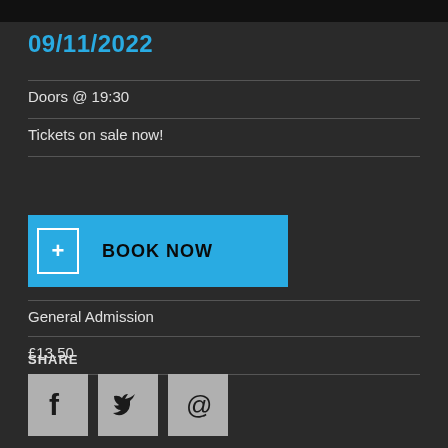09/11/2022
Doors @ 19:30
Tickets on sale now!
BOOK NOW
General Admission
£13.50
SHARE
[Figure (other): Social share buttons: Facebook, Twitter, Email]